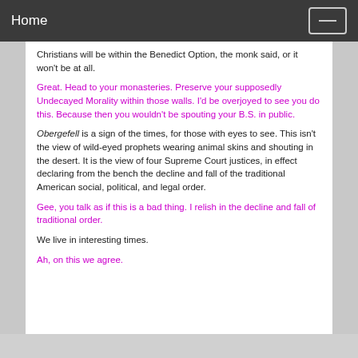Home
Christians will be within the Benedict Option, the monk said, or it won’t be at all.
Great. Head to your monasteries. Preserve your supposedly Undecayed Morality within those walls. I’d be overjoyed to see you do this. Because then you wouldn’t be spouting your B.S. in public.
Obergefell is a sign of the times, for those with eyes to see. This isn’t the view of wild-eyed prophets wearing animal skins and shouting in the desert. It is the view of four Supreme Court justices, in effect declaring from the bench the decline and fall of the traditional American social, political, and legal order.
Gee, you talk as if this is a bad thing. I relish in the decline and fall of traditional order.
We live in interesting times.
Ah, on this we agree.